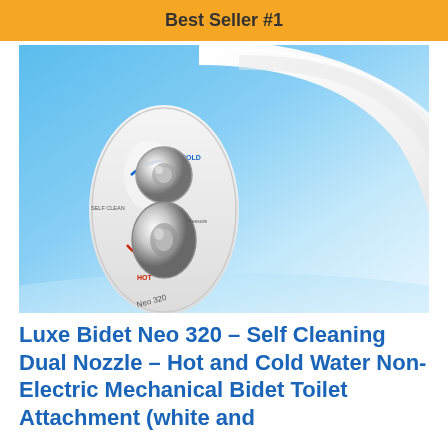Best Seller #1
[Figure (photo): Close-up photo of a Luxe Bidet Neo 320 bidet attachment control unit showing dual chrome knobs with hot/cold labels on a white oval body, positioned beside a white toilet seat against a light blue background.]
Luxe Bidet Neo 320 – Self Cleaning Dual Nozzle – Hot and Cold Water Non-Electric Mechanical Bidet Toilet Attachment (white and